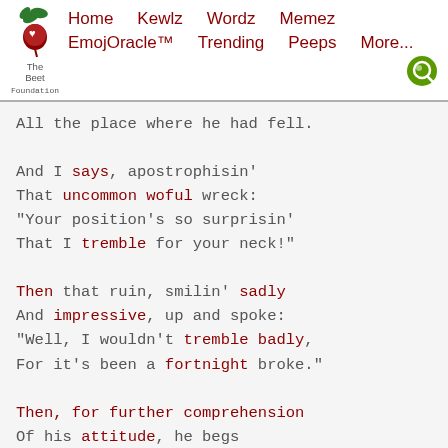The Beet Foundation | Home | Kewlz | Wordz | Memez | EmojOracle™ | Trending | Peeps | More...
All the place where he had fell.

And I says, apostrophisin'
That uncommon woful wreck:
"Your position's so surprisin'
That I tremble for your neck!"

Then that ruin, smilin' sadly
And impressive, up and spoke:
"Well, I wouldn't tremble badly,
For it's been a fortnight broke."

Then, for further comprehension
Of his attitude, he begs
I will focus my attention
On his various arms and legs --